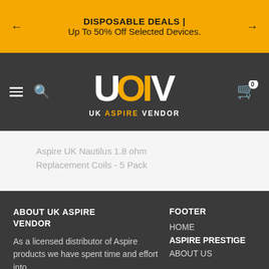DISPOSABLE DEALS | Up To 50% Off Selected Devices.
[Figure (logo): UK Aspire Vendor logo with navigation icons (hamburger menu, search, cart)]
Aspire UK Nautilus 1.8 ohm Replacement Coils - 5 Pack
ABOUT UK ASPIRE VENDOR
As a licensed distributor of Aspire products we have spent time and effort into
FOOTER
HOME
ASPIRE PRESTIGE
ABOUT US